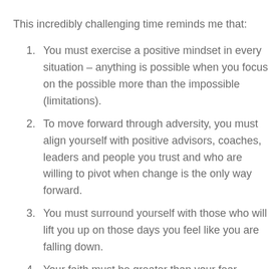This incredibly challenging time reminds me that:
You must exercise a positive mindset in every situation – anything is possible when you focus on the possible more than the impossible (limitations).
To move forward through adversity, you must align yourself with positive advisors, coaches, leaders and people you trust and who are willing to pivot when change is the only way forward.
You must surround yourself with those who will lift you up on those days you feel like you are falling down.
Your faith must be greater than your fear.